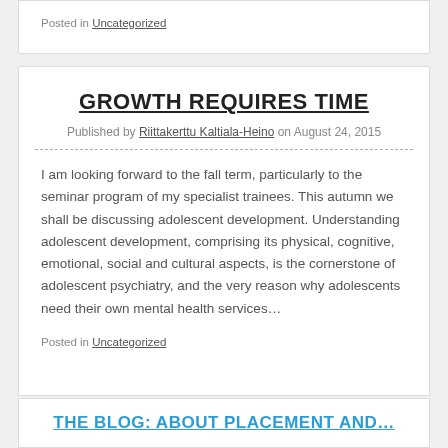Posted in Uncategorized
GROWTH REQUIRES TIME
Published by Riittakerttu Kaltiala-Heino on August 24, 2015
I am looking forward to the fall term, particularly to the seminar program of my specialist trainees. This autumn we shall be discussing adolescent development. Understanding adolescent development, comprising its physical, cognitive, emotional, social and cultural aspects, is the cornerstone of adolescent psychiatry, and the very reason why adolescents need their own mental health services…
Posted in Uncategorized
THE BLOG: ABOUT PLACEMENT AND…